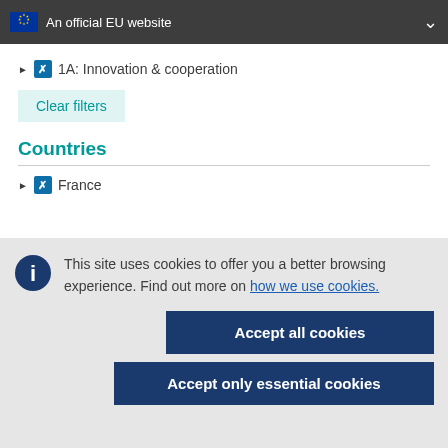An official EU website
1A: Innovation & cooperation
Clear filters
Countries
France
This site uses cookies to offer you a better browsing experience. Find out more on how we use cookies.
Accept all cookies
Accept only essential cookies